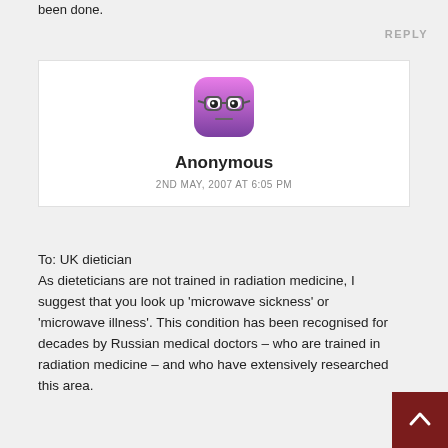been done.
REPLY
[Figure (illustration): Anonymous user avatar: a pink/purple rounded square with cartoon face wearing glasses and neutral expression]
Anonymous
2ND MAY, 2007 AT 6:05 PM
To: UK dietician
As dieteticians are not trained in radiation medicine, I suggest that you look up 'microwave sickness' or 'microwave illness'. This condition has been recognised for decades by Russian medical doctors – who are trained in radiation medicine – and who have extensively researched this area.